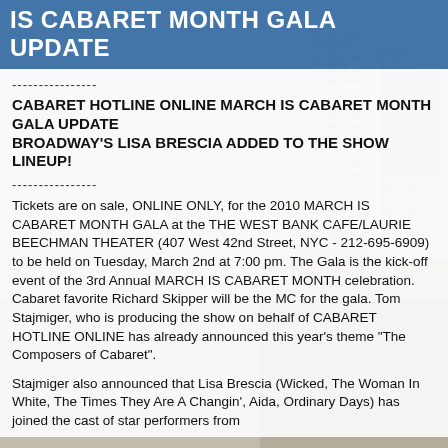IS CABARET MONTH GALA UPDATE
----------------
CABARET HOTLINE ONLINE MARCH IS CABARET MONTH GALA UPDATE
BROADWAY'S LISA BRESCIA ADDED TO THE SHOW LINEUP!
----------------
Tickets are on sale, ONLINE ONLY, for the 2010 MARCH IS CABARET MONTH GALA at the THE WEST BANK CAFE/LAURIE BEECHMAN THEATER (407 West 42nd Street, NYC - 212-695-6909) to be held on Tuesday, March 2nd at 7:00 pm. The Gala is the kick-off event of the 3rd Annual MARCH IS CABARET MONTH celebration. Cabaret favorite Richard Skipper will be the MC for the gala. Tom Stajmiger, who is producing the show on behalf of CABARET HOTLINE ONLINE has already announced this year's theme "The Composers of Cabaret".
Stajmiger also announced that Lisa Brescia (Wicked, The Woman In White, The Times They Are A Changin', Aida, Ordinary Days) has joined the cast of star performers from